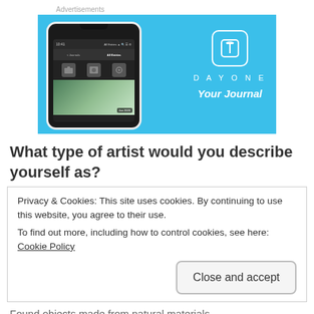Advertisements
[Figure (screenshot): DayOne app advertisement banner on light blue background showing a smartphone with the DayOne journaling app interface and the text 'DAYONE Your Journal']
What type of artist would you describe yourself as?
Privacy & Cookies: This site uses cookies. By continuing to use this website, you agree to their use.
To find out more, including how to control cookies, see here: Cookie Policy
Close and accept
Found objects made from natural materials.